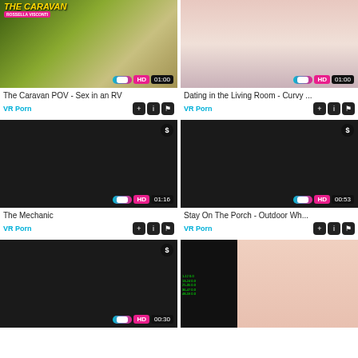[Figure (screenshot): Video thumbnail: The Caravan POV - Sex in an RV, HD, 01:00]
The Caravan POV - Sex in an RV
VR Porn
[Figure (screenshot): Video thumbnail: Dating in the Living Room - Curvy ..., HD, 01:00]
Dating in the Living Room - Curvy ...
VR Porn
[Figure (screenshot): Video thumbnail: The Mechanic, HD, 01:16, premium ($)]
The Mechanic
VR Porn
[Figure (screenshot): Video thumbnail: Stay On The Porch - Outdoor Wh..., HD, 00:53, premium ($)]
Stay On The Porch - Outdoor Wh...
VR Porn
[Figure (screenshot): Video thumbnail: unknown title, HD, 00:30, premium ($)]
[Figure (screenshot): Video thumbnail: unknown title, no badges visible]